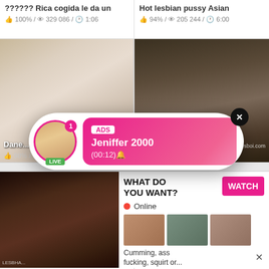?????? Rica cogida le da un
👍 100% / 👁 329 086 / 🕐 1:06
Hot lesbian pussy Asian
👍 94% / 👁 205 244 / 🕐 6:00
[Figure (screenshot): Video thumbnail left - adult content]
[Figure (screenshot): Video thumbnail right - adult content]
[Figure (screenshot): Ad popup overlay with avatar of Jeniffer 2000 and LIVE badge]
[Figure (screenshot): Ad widget - What do you want? Watch button with mini thumbnails]
Lesbian lovers
BigTits Cheerleader Brunette